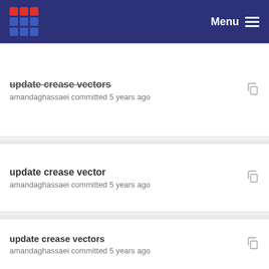Menu
update crease vectors
amandaghassaei committed 5 years ago
update crease vector
amandaghassaei committed 5 years ago
update crease vectors
amandaghassaei committed 5 years ago
update crease vector
amandaghassaei committed 5 years ago
index sync